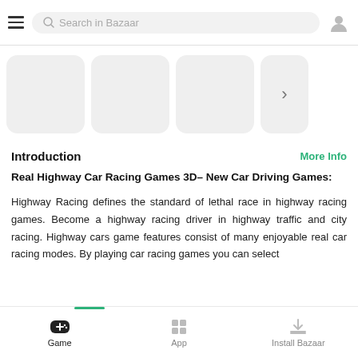Search in Bazaar
[Figure (screenshot): Row of app icon placeholder cards (grey rounded rectangles) with a right arrow button]
Introduction
More Info
Real Highway Car Racing Games 3D– New Car Driving Games:
Highway Racing defines the standard of lethal race in highway racing games. Become a highway racing driver in highway traffic and city racing. Highway cars game features consist of many enjoyable real car racing modes. By playing car racing games you can select
Game   App   Install Bazaar